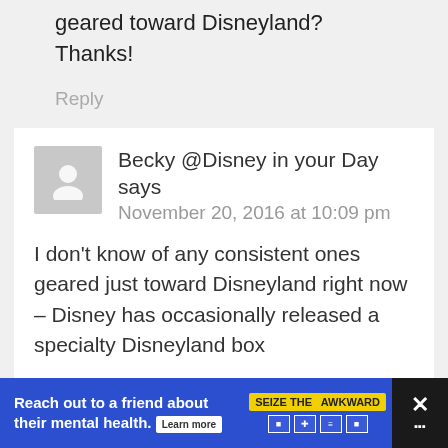geared toward Disneyland? Thanks!
Reply
Becky @Disney in your Day says
November 20, 2016 at 10:09 pm
I don't know of any consistent ones geared just toward Disneyland right now – Disney has occasionally released a specialty Disneyland box
[Figure (other): Advertisement banner: 'Reach out to a friend about their mental health. Learn more' with SEIZE THE AWKWARD badge logo and close button]